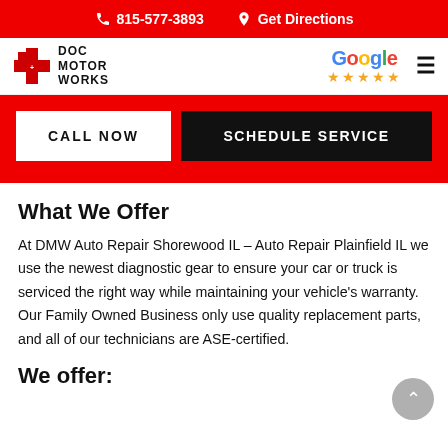📞 815-577-3893   ⇒ Get Directions
[Figure (logo): Doc Motor Works logo with red cross and Google 5-star rating]
[Figure (other): CALL NOW and SCHEDULE SERVICE buttons on red background]
What We Offer
At DMW Auto Repair Shorewood IL – Auto Repair Plainfield IL we use the newest diagnostic gear to ensure your car or truck is serviced the right way while maintaining your vehicle's warranty. Our Family Owned Business only use quality replacement parts, and all of our technicians are ASE-certified.
We offer: